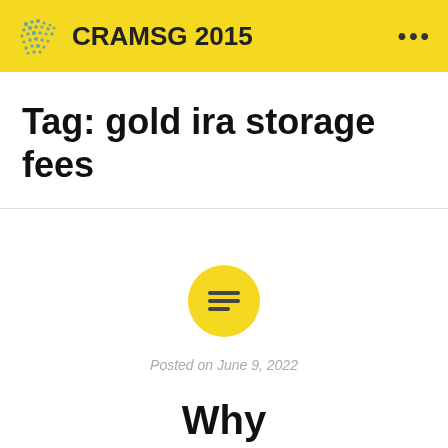CRAMSG 2015
Tag: gold ira storage fees
[Figure (illustration): Yellow circle with three horizontal lines icon (text/article icon)]
Posted on June 9, 2022
Why Purchasing